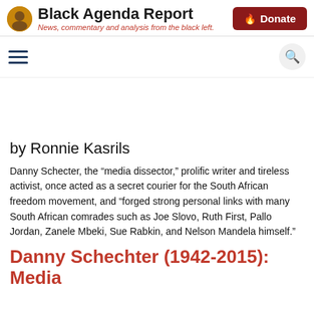Black Agenda Report — News, commentary and analysis from the black left. | Donate
by Ronnie Kasrils
Danny Schecter, the “media dissector,” prolific writer and tireless activist, once acted as a secret courier for the South African freedom movement, and “forged strong personal links with many South African comrades such as Joe Slovo, Ruth First, Pallo Jordan, Zanele Mbeki, Sue Rabkin, and Nelson Mandela himself.”
Danny Schechter (1942-2015): Media